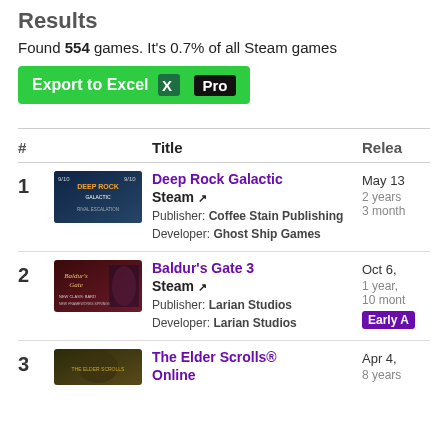Results
Found 554 games. It's 0.7% of all Steam games
Export to Excel [X icon] Pro
| # |  | Title | Relea |
| --- | --- | --- | --- |
| 1 | [Deep Rock Galactic image] | Deep Rock Galactic
Steam ↗
Publisher: Coffee Stain Publishing
Developer: Ghost Ship Games | May 13
2 years
3 month |
| 2 | [Baldur's Gate 3 image] | Baldur's Gate 3
Steam ↗
Publisher: Larian Studios
Developer: Larian Studios | Oct 6,
1 year, 10 mont
Early A |
| 3 | [The Elder Scrolls Online image] | The Elder Scrolls® Online | Apr 4,
8 years |